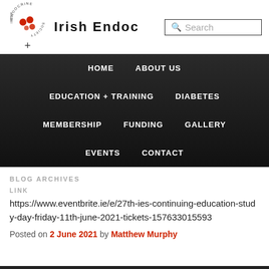[Figure (logo): Irish Endocrine Society circular logo with red dots/cells and text around the ring, followed by site title 'Irish Endoc' visible]
Irish Endocrine Society
HOME   ABOUT US   EDUCATION + TRAINING   DIABETES   MEMBERSHIP   FUNDING   GALLERY   EVENTS   CONTACT
BLOG ARCHIVES
LINK
https://www.eventbrite.ie/e/27th-ies-continuing-education-study-day-friday-11th-june-2021-tickets-157633015593
Posted on 2 June 2021 by Matthew Murphy